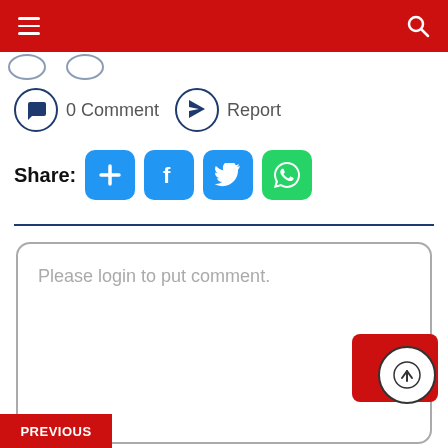Navigation bar with hamburger menu and search icon
0 Comment   Report
Share:
[Figure (screenshot): Social share buttons: plus, Facebook, Twitter, WhatsApp]
Please login to put comment.
PREVIOUS